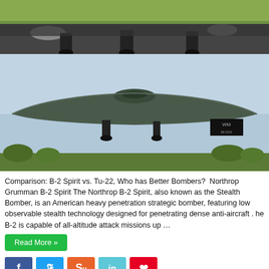[Figure (photo): Top portion of a military aircraft (likely Tu-22) on a runway, showing landing gear and underside, with trees and sky in background]
[Figure (photo): B-2 Spirit stealth bomber on a runway, low angle shot showing the flying wing design, with trees in background]
Comparison: B-2 Spirit vs. Tu-22, Who has Better Bombers?  Northrop Grumman B-2 Spirit The Northrop B-2 Spirit, also known as the Stealth Bomber, is an American heavy penetration strategic bomber, featuring low observable stealth technology designed for penetrating dense anti-aircraft . he B-2 is capable of all-altitude attack missions up …
Read More »
[Figure (infographic): Social sharing buttons: Facebook, Twitter, StumbleUpon, LinkedIn, Pinterest]
ADVERTISEMENT